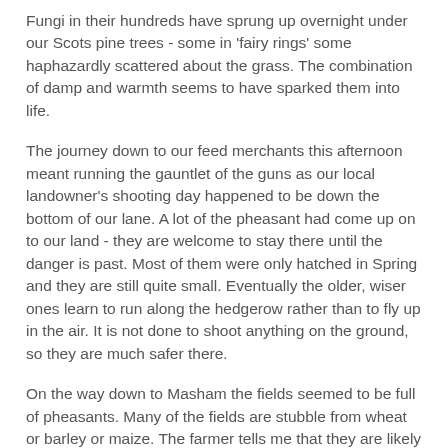Fungi in their hundreds have sprung up overnight under our Scots pine trees - some in 'fairy rings' some haphazardly scattered about the grass. The combination of damp and warmth seems to have sparked them into life.
The journey down to our feed merchants this afternoon meant running the gauntlet of the guns as our local landowner's shooting day happened to be down the bottom of our lane. A lot of the pheasant had come up on to our land - they are welcome to stay there until the danger is past. Most of them were only hatched in Spring and they are still quite small. Eventually the older, wiser ones learn to run along the hedgerow rather than to fly up in the air. It is not done to shoot anything on the ground, so they are much safer there.
On the way down to Masham the fields seemed to be full of pheasants. Many of the fields are stubble from wheat or barley or maize. The farmer tells me that they are likely to stay as stubble until the Spring now - they will be 'well-mucked' and then left over the winter.